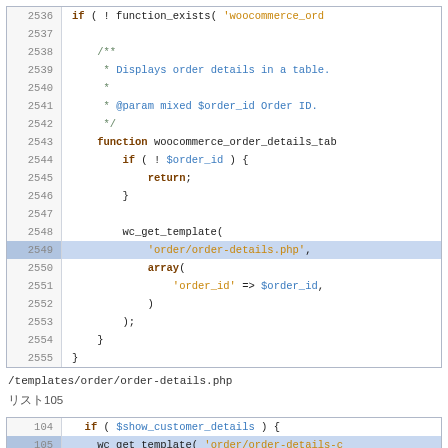[Figure (screenshot): Code viewer showing PHP lines 2536–2555 with line 2549 highlighted in blue. Shows function woocommerce_order_details_table with wc_get_template call.]
/templates/order/order-details.php
リスト105
[Figure (screenshot): Code viewer showing PHP lines 104–106 with line 105 highlighted in blue. Shows if ($show_customer_details) and wc_get_template call.]